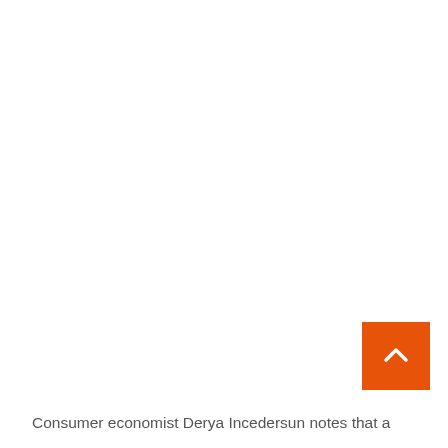[Figure (other): Orange square button with a white upward-pointing chevron arrow, positioned in the lower right area of the page (scroll-to-top button)]
Consumer economist Derya Incedersun notes that a